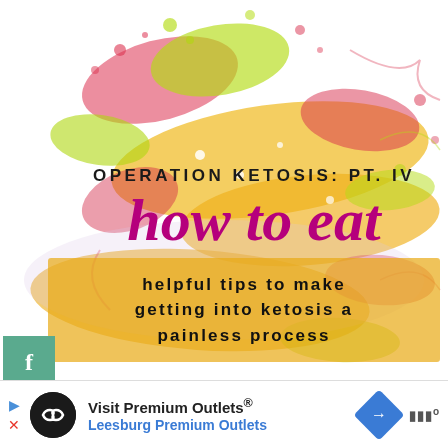[Figure (illustration): Colorful abstract paint splash artwork with pinks, yellows, greens on white background, serving as decorative header image]
[Figure (infographic): Teal/green social sharing sidebar with Facebook (f), Pinterest (p), and Twitter (bird) icons stacked vertically]
OPERATION KETOSIS: PT. IV
how to eat
helpful tips to make getting into ketosis a painless process
Visit Premium Outlets® Leesburg Premium Outlets